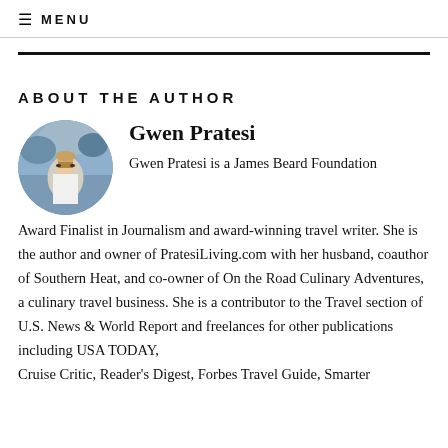≡ MENU
ABOUT THE AUTHOR
[Figure (photo): Circular portrait photo of Gwen Pratesi, a woman standing outdoors with a scenic hillside town in the background, wearing a white outfit and sunglasses.]
Gwen Pratesi
Gwen Pratesi is a James Beard Foundation Award Finalist in Journalism and award-winning travel writer. She is the author and owner of PratesiLiving.com with her husband, coauthor of Southern Heat, and co-owner of On the Road Culinary Adventures, a culinary travel business. She is a contributor to the Travel section of U.S. News & World Report and freelances for other publications including USA TODAY, Cruise Critic, Reader's Digest, Forbes Travel Guide, Smarter